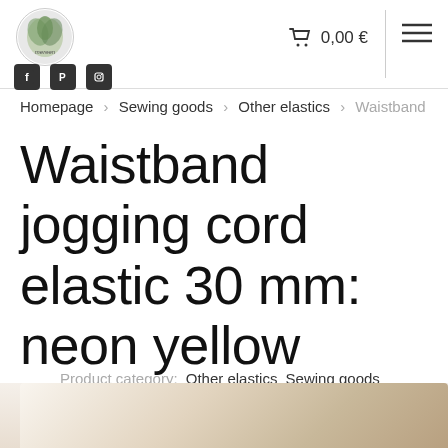[Figure (logo): Circular logo with leaf/nature motif and text 'mereen']
[Figure (infographic): Social media icons: Facebook, Pinterest, Instagram]
🛒 0,00 €
≡
Homepage > Sewing goods > Other elastics > Waistband
Waistband jogging cord elastic 30 mm: neon yellow
Product category: Other elastics Sewing goods
[Figure (photo): Bottom portion of product photo showing wooden spool with yellow elastic band, light background]